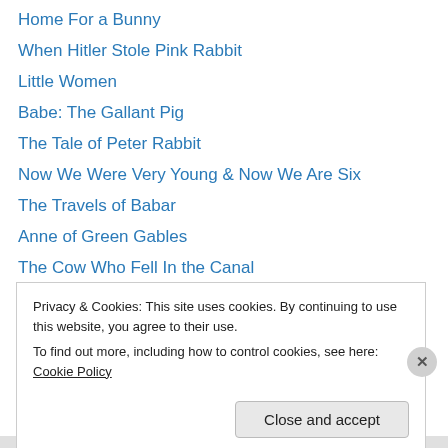Home For a Bunny
When Hitler Stole Pink Rabbit
Little Women
Babe: The Gallant Pig
The Tale of Peter Rabbit
Now We Were Very Young & Now We Are Six
The Travels of Babar
Anne of Green Gables
The Cow Who Fell In the Canal
Rabbit Hill
Freight Train
Big Tiger and Christian
Amos & Boris
Privacy & Cookies: This site uses cookies. By continuing to use this website, you agree to their use.
To find out more, including how to control cookies, see here: Cookie Policy
Close and accept